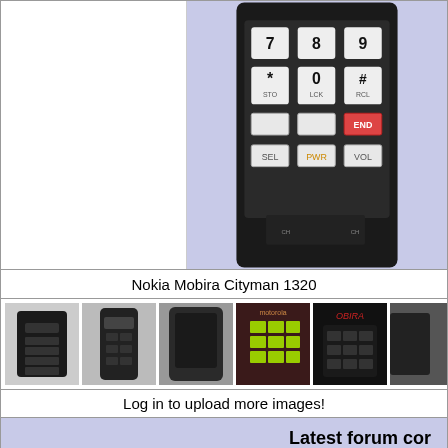[Figure (photo): Nokia Mobira Cityman 1320 mobile phone showing keypad with 7 8 9, * 0 # (STO LCK RCL), CLR END END (highlighted), SEL PWR VOL buttons, dark handset body against purple/blue background]
Nokia Mobira Cityman 1320
[Figure (photo): Row of 6 thumbnail photos of various vintage mobile phones/handsets]
Log in to upload more images!
Latest forum cor
There are no c
www.mobilecollecto